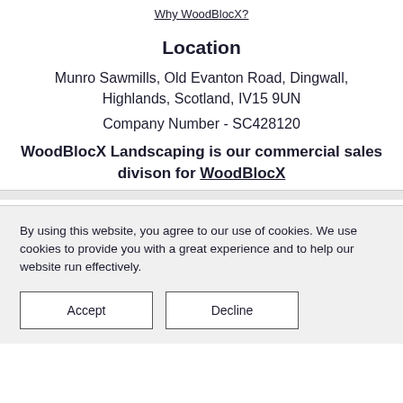Why WoodBlocX?
Location
Munro Sawmills, Old Evanton Road, Dingwall, Highlands, Scotland, IV15 9UN
Company Number - SC428120
WoodBlocX Landscaping is our commercial sales divison for WoodBlocX
By using this website, you agree to our use of cookies. We use cookies to provide you with a great experience and to help our website run effectively.
Accept
Decline